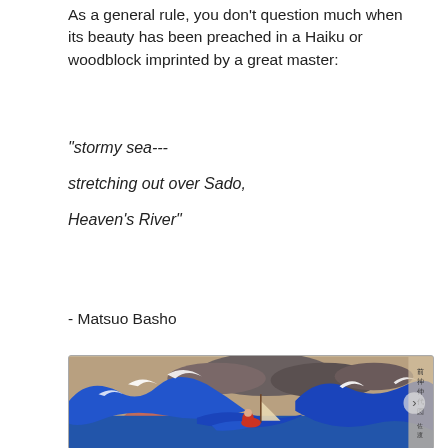As a general rule, you don't question much when its beauty has been preached in a Haiku or woodblock imprinted by a great master:
“stormy sea---

stretching out over Sado,

Heaven’s River”
- Matsuo Basho
[Figure (illustration): Japanese woodblock print showing a stormy sea with large crashing waves in blue and white, a small sailboat amid the waves, a figure in red clinging to a raft or boat, mountains in the background, dark storm clouds, and Japanese text characters on the right side border.]